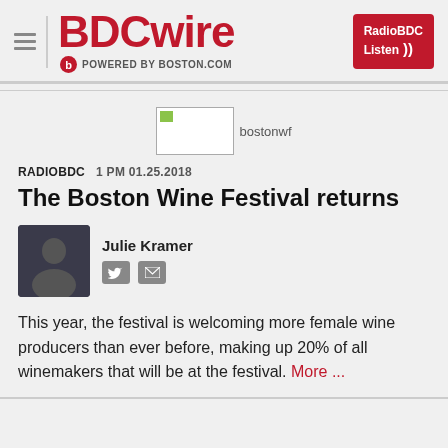BDCwire — POWERED BY BOSTON.COM — RadioBDC Listen
[Figure (photo): Broken/placeholder image thumbnail labeled 'bostonwf']
RADIOBDC   1 PM 01.25.2018
The Boston Wine Festival returns
Julie Kramer
This year, the festival is welcoming more female wine producers than ever before, making up 20% of all winemakers that will be at the festival. More ...